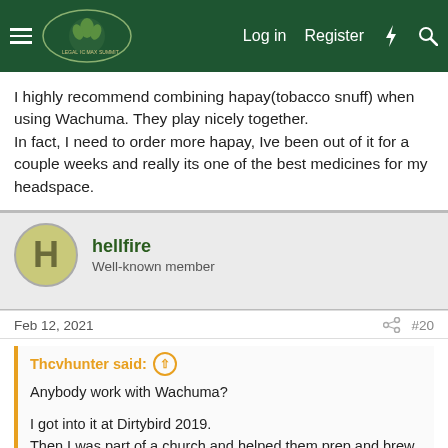Log in | Register
I highly recommend combining hapay(tobacco snuff) when using Wachuma. They play nicely together.
In fact, I need to order more hapay, Ive been out of it for a couple weeks and really its one of the best medicines for my headspace.
hellfire
Well-known member
Feb 12, 2021  #20
Thcvhunter said:
Anybody work with Wachuma?
I got into it at Dirtybird 2019.
Then I was part of a church and helped them prep and brew for several ceremonies.